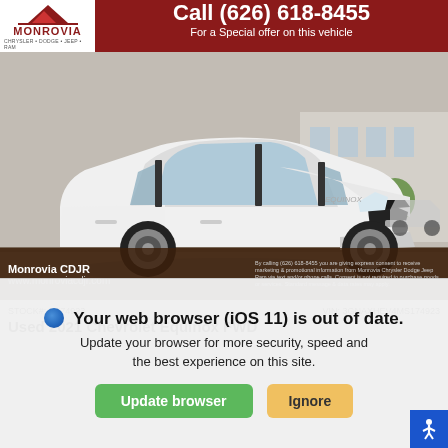Call (626) 618-8455
For a Special offer on this vehicle
[Figure (photo): White Chevrolet Equinox FWD SUV parked at dealership lot, front three-quarter view]
Monrovia CDJR
www.monroviacdjr.com
By calling (626) 618-8455 you are giving express consent to receive marketing & promotional information from Monrovia Chrysler Dodge Jeep Ram via text and/or phone calls. Consent is not required to purchase goods or services. Standard message & data rates may apply.
STOCK#: BT74923
VIN: 3GNAXHEV4MS174923
Used 2021 Chevrolet Equinox FWD
Your web browser (iOS 11) is out of date.
Update your browser for more security, speed and the best experience on this site.